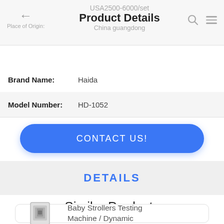USA2500-6000/set  Product Details  China guangdong
Place of Origin:
Brand Name: Haida
Model Number: HD-1052
CONTACT US!
DETAILS
Similar Products
Baby Strollers Testing Machine / Dynamic